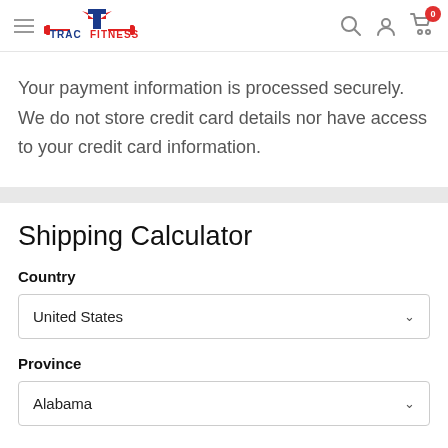[Figure (logo): TracFitness logo with red and blue T icon and barbell motif]
Your payment information is processed securely. We do not store credit card details nor have access to your credit card information.
Shipping Calculator
Country
United States
Province
Alabama